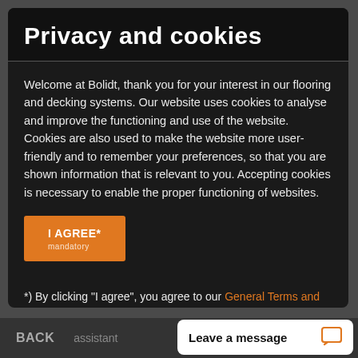Privacy and cookies
Welcome at Bolidt, thank you for your interest in our flooring and decking systems. Our website uses cookies to analyse and improve the functioning and use of the website. Cookies are also used to make the website more user-friendly and to remember your preferences, so that you are shown information that is relevant to you. Accepting cookies is necessary to enable the proper functioning of websites.
I AGREE*
*) By clicking "I agree", you agree to our General Terms and Conditions, our Disclaimer and our Privacy and Cookie Statement.
BACK  assistant   Leave a message